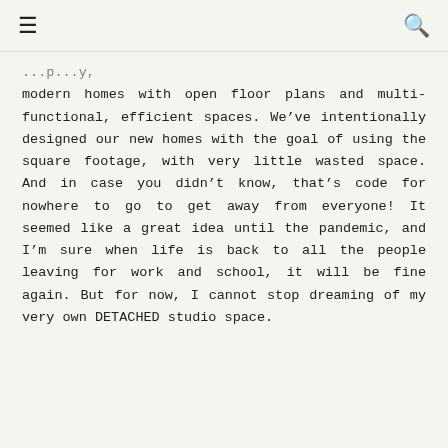≡  🔍
modern homes with open floor plans and multi-functional, efficient spaces. We've intentionally designed our new homes with the goal of using the square footage, with very little wasted space. And in case you didn't know, that's code for nowhere to go to get away from everyone! It seemed like a great idea until the pandemic, and I'm sure when life is back to all the people leaving for work and school, it will be fine again. But for now, I cannot stop dreaming of my very own DETACHED studio space.